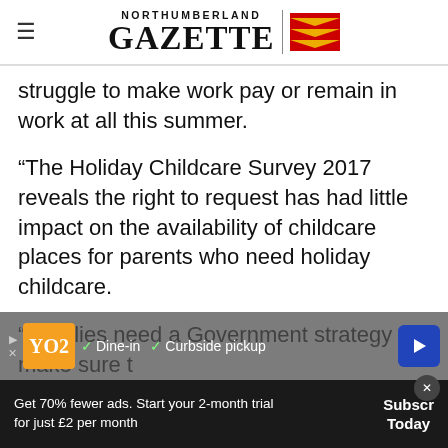NORTHUMBERLAND GAZETTE
struggle to make work pay or remain in work at all this summer.
“The Holiday Childcare Survey 2017 reveals the right to request has had little impact on the availability of childcare places for parents who need holiday childcare.
“Families need a Government strategy to make sure t[...] after they have paid for childcare and that there is...
Get 70% fewer ads. Start your 2-month trial for just £2 per month
Subscribe Today